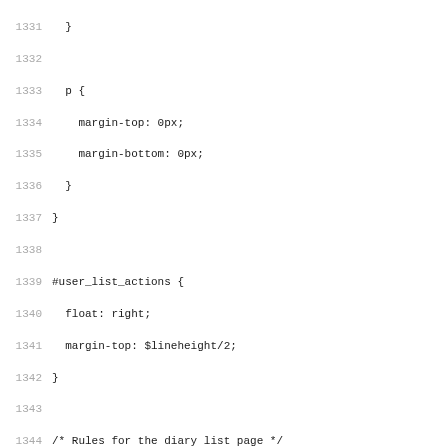Code listing showing CSS rules, lines 1331-1363